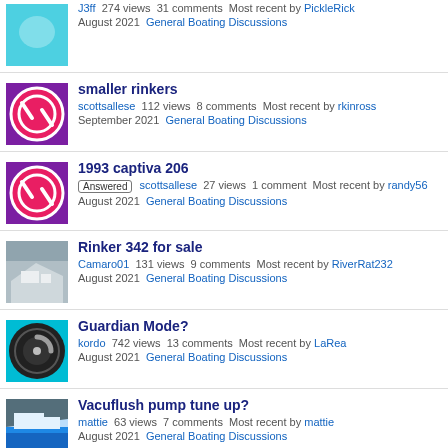J3ff 274 views 31 comments Most recent by PickleRick August 2021 General Boating Discussions
smaller rinkers - scottsallese 112 views 8 comments Most recent by rkinross September 2021 General Boating Discussions
1993 captiva 206 - Answered - scottsallese 27 views 1 comment Most recent by randy56 August 2021 General Boating Discussions
Rinker 342 for sale - Camaro01 131 views 9 comments Most recent by RiverRat232 August 2021 General Boating Discussions
Guardian Mode? - kordo 742 views 13 comments Most recent by LaRea August 2021 General Boating Discussions
Vacuflush pump tune up? - mattie 63 views 7 comments Most recent by mattie August 2021 General Boating Discussions
Beautiful Crystal Clear Water